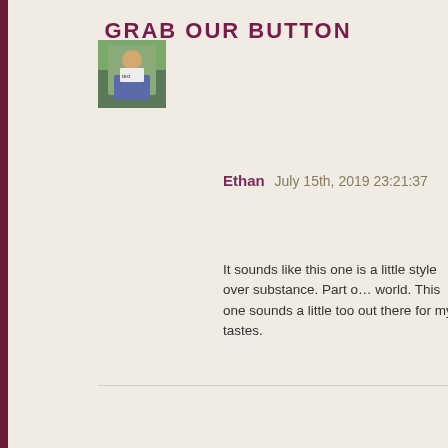[Figure (photo): Small avatar photo of a person holding a sign outdoors]
Ethan July 15th, 2019 23:21:37
It sounds like this one is a little style over substance. Part of the world. This one sounds a little too out there for my tastes.
GRAB OUR BUTTON
<a href="http://www.xpressoreads.com/" target="_blank"